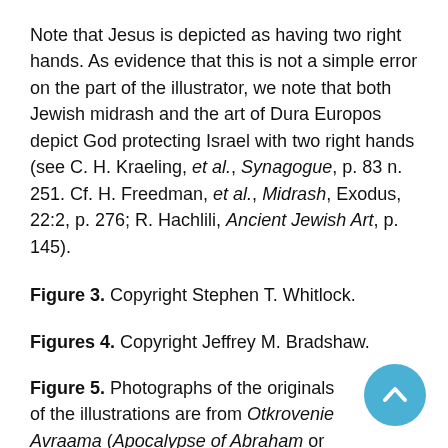Note that Jesus is depicted as having two right hands. As evidence that this is not a simple error on the part of the illustrator, we note that both Jewish midrash and the art of Dura Europos depict God protecting Israel with two right hands (see C. H. Kraeling, et al., Synagogue, p. 83 n. 251. Cf. H. Freedman, et al., Midrash, Exodus, 22:2, p. 276; R. Hachlili, Ancient Jewish Art, p. 145).
Figure 3. Copyright Stephen T. Whitlock.
Figures 4. Copyright Jeffrey M. Bradshaw.
Figure 5. Photographs of the originals of the illustrations are from Otkrovenie Avraama (Apocalypse of Abraham or ApAb), which